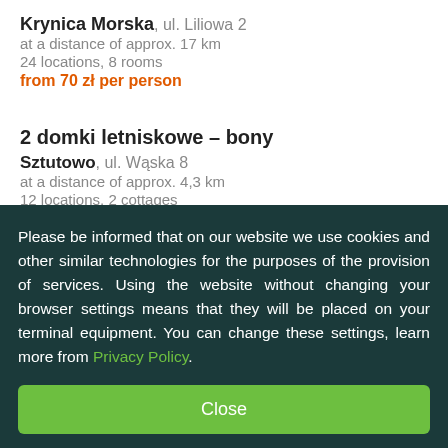Krynica Morska, ul. Liliowa 2 at a distance of approx. 17 km
24 locations, 8 rooms
from 70 zł per person
2 domki letniskowe – bony
Sztutowo, ul. Wąska 8 at a distance of approx. 4,3 km
12 locations, 2 cottages
from 300 zł total price
Please be informed that on our website we use cookies and other similar technologies for the purposes of the provision of services. Using the website without changing your browser settings means that they will be placed on your terminal equipment. You can change these settings, learn more from Privacy Policy.
Close